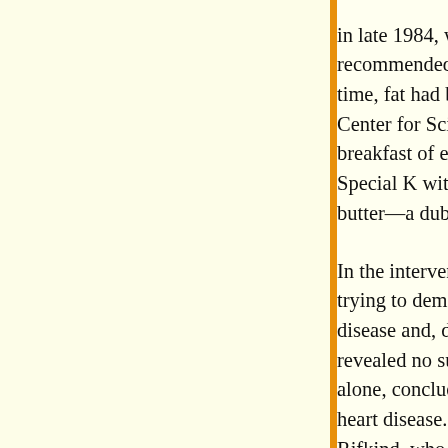in late 1984, when the National Institutes of H recommended that all Americans over the age time, fat had become "this greasy killer" in th Center for Science in the Public Interest, and t breakfast of eggs and bacon was well on its wa Special K with low-fat milk, a glass of orange butter—a dubious feast of refined carbohydrat
In the intervening years, the N.I.H. spent seve trying to demonstrate a connection between ea disease and, despite what we might think, it fa revealed no such link. A sixth, however, costin alone, concluded that reducing cholesterol by c heart disease. The N.I.H. administrators then r Rifkind, who oversaw the relevant trials for th logic this way: they had failed to demonstrate less fat had any health benefits. But if a choles prevent heart attacks, then a low-fat, cholester the same. "It's an imperfect world," Rifkind to would be definitive is ungettable, so you do yo available."
Some of the best scientists disagreed with this that good science was incompatible with such were effectively ignored. Pete Ahrens, whose